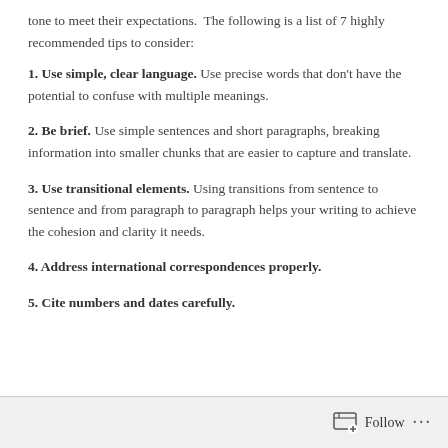tone to meet their expectations.  The following is a list of 7 highly recommended tips to consider:
1. Use simple, clear language. Use precise words that don't have the potential to confuse with multiple meanings.
2. Be brief. Use simple sentences and short paragraphs, breaking information into smaller chunks that are easier to capture and translate.
3. Use transitional elements. Using transitions from sentence to sentence and from paragraph to paragraph helps your writing to achieve the cohesion and clarity it needs.
4. Address international correspondences properly.
5. Cite numbers and dates carefully.
Follow ...